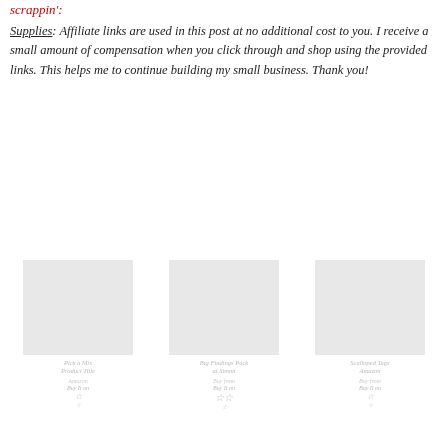scrappin':
Supplies: Affiliate links are used in this post at no additional cost to you. I receive a small amount of compensation when you click through and shop using the provided links. This helps me to continue building my small business. Thank you!
[Figure (other): Three product images in a row showing craft/scrapbooking supplies with product titles, store names, buy buttons, and price/rating info, all appearing faded/light gray]